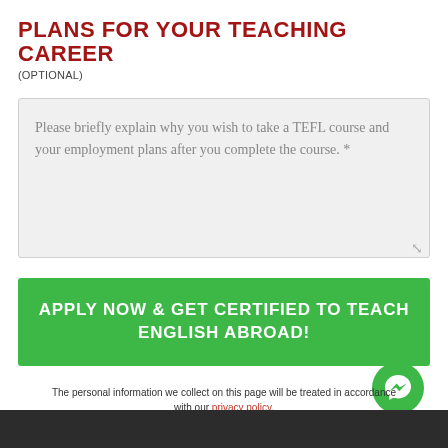PLANS FOR YOUR TEACHING CAREER
(OPTIONAL)
Please briefly explain why you wish to take a TEFL course and your employment plans after you complete the course. *
APPLY NOW & GET CERTIFIED TO TEACH ENGLISH ABROAD!
The personal information we collect on this page will be treated in accordance with our privacy policy. By submitting this form you declare to have read and agreed to our Terms & Conditions.